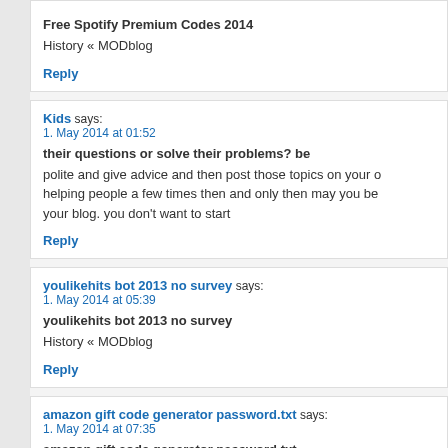Free Spotify Premium Codes 2014
History « MODblog
Reply
Kids says:
1. May 2014 at 01:52
their questions or solve their problems? be
polite and give advice and then post those topics on your o... helping people a few times then and only then may you be... your blog. you don't want to start
Reply
youlikehits bot 2013 no survey says:
1. May 2014 at 05:39
youlikehits bot 2013 no survey
History « MODblog
Reply
amazon gift code generator password.txt says:
1. May 2014 at 07:35
amazon gift code generator password.txt